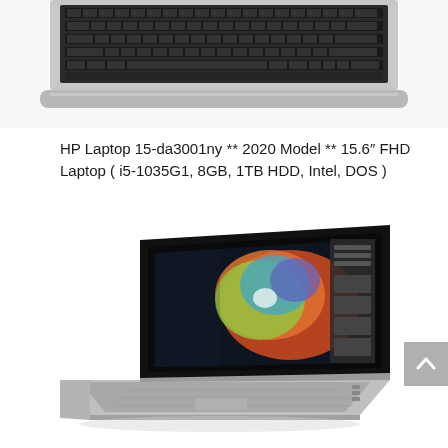[Figure (photo): Top-down partial view of a laptop keyboard, showing the keyboard and bottom edge of the laptop body in silver/grey color]
HP Laptop 15-da3001ny ** 2020 Model ** 15.6″ FHD Laptop ( i5-1035G1, 8GB, 1TB HDD, Intel, DOS )
[Figure (photo): HP ZBook or similar laptop shown at an angle, open, with a colorful abstract artwork displayed on the screen, in silver/grey aluminum chassis]
[Figure (other): Grey scroll-to-top button with upward chevron arrow]